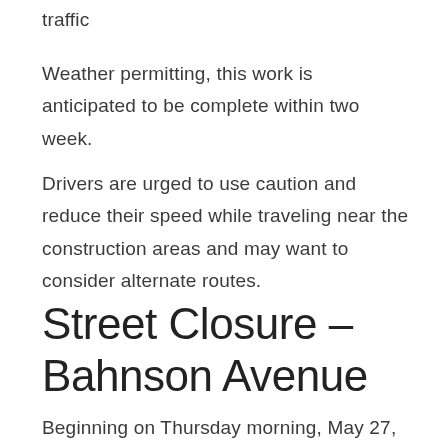traffic
Weather permitting, this work is anticipated to be complete within two week.
Drivers are urged to use caution and reduce their speed while traveling near the construction areas and may want to consider alternate routes.
Street Closure – Bahnson Avenue
Beginning on Thursday morning, May 27, 2021,